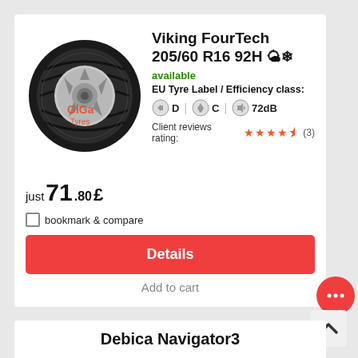[Figure (photo): Black tire with silver alloy wheel, Giga Tyres watermark overlay]
Viking FourTech 205/60 R16 92H
available
EU Tyre Label / Efficiency class:
D | C | 72dB
Client reviews rating: (3)
just 71.80 £
bookmark & compare
Details
Add to cart
Debica Navigator3